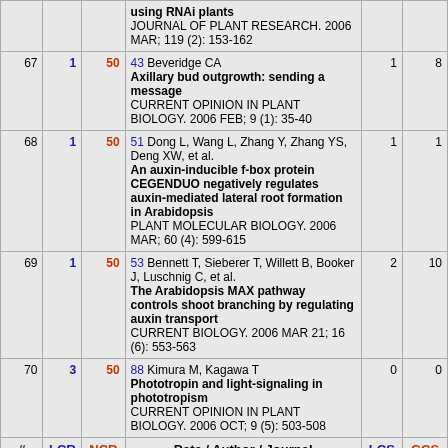| # | LCR | NCR | Date / Author / Journal | LCS | GCS |
| --- | --- | --- | --- | --- | --- |
|  |  |  | using RNAi plants
JOURNAL OF PLANT RESEARCH. 2006 MAR; 119 (2): 153-162 |  |  |
| 67 | 1 | 50 | 43 Beveridge CA
Axillary bud outgrowth: sending a message
CURRENT OPINION IN PLANT BIOLOGY. 2006 FEB; 9 (1): 35-40 | 1 | 8 |
| 68 | 1 | 50 | 51 Dong L, Wang L, Zhang Y, Zhang YS, Deng XW, et al.
An auxin-inducible f-box protein CEGENDUO negatively regulates auxin-mediated lateral root formation in Arabidopsis
PLANT MOLECULAR BIOLOGY. 2006 MAR; 60 (4): 599-615 | 1 | 1 |
| 69 | 1 | 50 | 53 Bennett T, Sieberer T, Willett B, Booker J, Luschnig C, et al.
The Arabidopsis MAX pathway controls shoot branching by regulating auxin transport
CURRENT BIOLOGY. 2006 MAR 21; 16 (6): 553-563 | 2 | 10 |
| 70 | 3 | 50 | 88 Kimura M, Kagawa T
Phototropin and light-signaling in phototropism
CURRENT OPINION IN PLANT BIOLOGY. 2006 OCT; 9 (5): 503-508 | 0 | 0 |
| # | LCR | NCR | Date / Author / Journal | LCS | GCS |
| 71 | 2 | 49 | 12 Woodward AW, Bartel B | 2 | 7 |